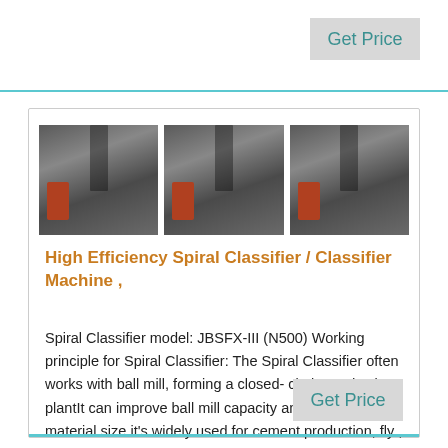Get Price
[Figure (photo): Three identical photos of an industrial spiral classifier machine in a factory setting]
High Efficiency Spiral Classifier / Classifier Machine ,
Spiral Classifier model: JBSFX-III (N500) Working principle for Spiral Classifier: The Spiral Classifier often works with ball mill, forming a closed- circle production plantIt can improve ball mill capacity and get required material size it's widely used for cement production, fly ,
Get Price